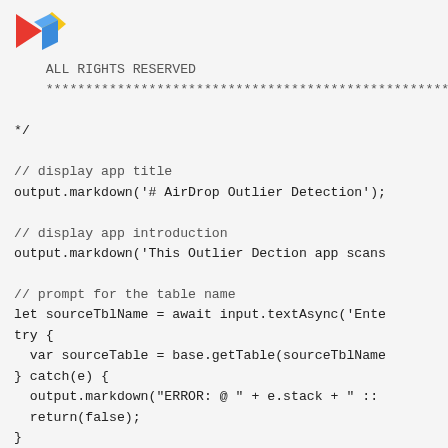[Figure (logo): Colorful geometric logo with red triangle, yellow diamond, and blue cube shapes]
ALL RIGHTS RESERVED
    ****************************************************

*/

// display app title
output.markdown('# AirDrop Outlier Detection');

// display app introduction
output.markdown('This Outlier Dection app scans

// prompt for the table name
let sourceTblName = await input.textAsync('Ente
try {
  var sourceTable = base.getTable(sourceTblName
} catch(e) {
  output.markdown("ERROR: @ " + e.stack + " ::
  return(false);
}